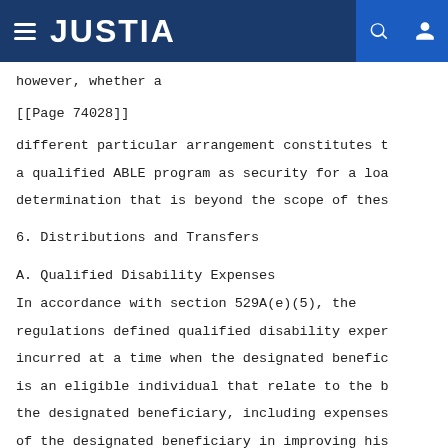JUSTIA
however, whether a
[[Page 74028]]
different particular arrangement constitutes t a qualified ABLE program as security for a loa determination that is beyond the scope of thes
6. Distributions and Transfers
A. Qualified Disability Expenses
In accordance with section 529A(e)(5), the regulations defined qualified disability exper incurred at a time when the designated benefic is an eligible individual that relate to the b the designated beneficiary, including expenses of the designated beneficiary in improving his